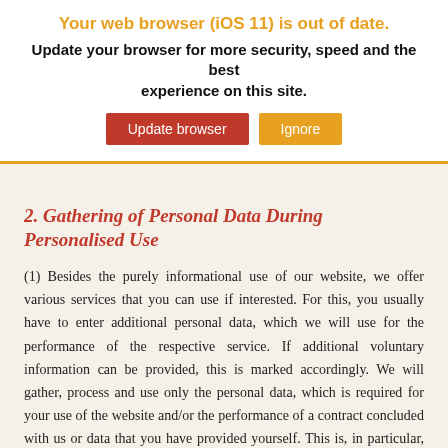Your web browser (iOS 11) is out of date. Update your browser for more security, speed and the best experience on this site.
2. Gathering of Personal Data During Personalised Use
(1) Besides the purely informational use of our website, we offer various services that you can use if interested. For this, you usually have to enter additional personal data, which we will use for the performance of the respective service. If additional voluntary information can be provided, this is marked accordingly. We will gather, process and use only the personal data, which is required for your use of the website and/or the performance of a contract concluded with us or data that you have provided yourself. This is, in particular, the following inventory data and usage data